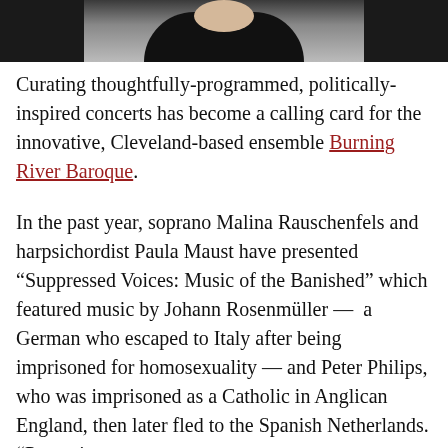[Figure (photo): Partial photo of a person in dark clothing, cropped at top of page, against a dark background]
Curating thoughtfully-programmed, politically-inspired concerts has become a calling card for the innovative, Cleveland-based ensemble Burning River Baroque.
In the past year, soprano Malina Rauschenfels and harpsichordist Paula Maust have presented “Suppressed Voices: Music of the Banished” which featured music by Johann Rosenmüller —  a German who escaped to Italy after being imprisoned for homosexuality — and Peter Philips, who was imprisoned as a Catholic in Anglican England, then later fled to the Spanish Netherlands. “Portratio...